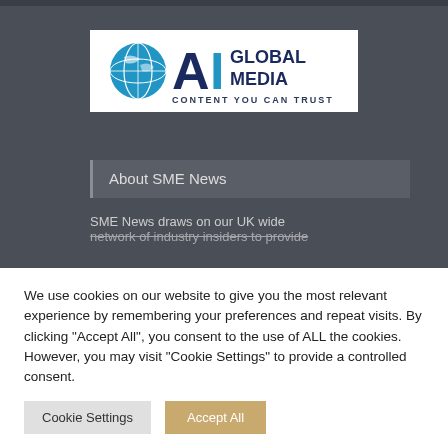[Figure (logo): AI Global Media logo with globe icon and text 'GLOBAL MEDIA' and tagline 'CONTENT YOU CAN TRUST']
About SME News
SME News draws on our UK wide network of industry insiders to provide
We use cookies on our website to give you the most relevant experience by remembering your preferences and repeat visits. By clicking "Accept All", you consent to the use of ALL the cookies. However, you may visit "Cookie Settings" to provide a controlled consent.
Cookie Settings | Accept All